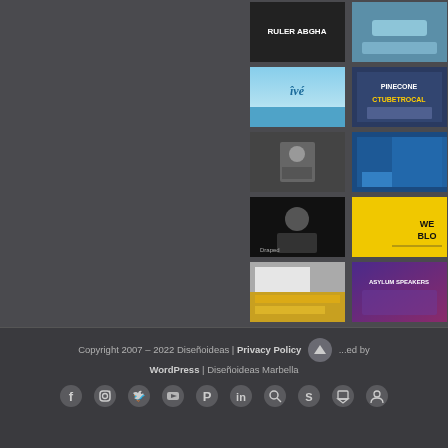[Figure (screenshot): Grid of 10 thumbnail images arranged in 2 columns and 5 rows showing various website/social media preview images including text overlays like 'RULER ABGHA', 'ive', 'CTUBETROCAL', 'Draped', 'WE BLO...', 'ASYLUM SPEAKERS']
Copyright 2007 - 2022 Diseñoideas | Privacy Policy | [up arrow] ...ed by WordPress | Diseñoideas Marbella
[Figure (infographic): Row of social media icons: Facebook, Instagram, Twitter, YouTube, Pinterest, LinkedIn, search, Skype/chat, and another icon]